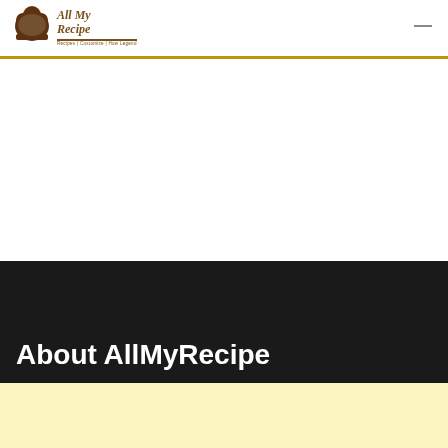All My Recipe — Recipes | Customize | How Legend
About AllMyRecipe